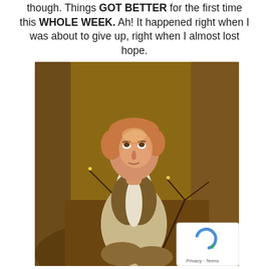though. Things GOT BETTER for the first time this WHOLE WEEK. Ah! It happened right when I was about to give up, right when I almost lost hope.
[Figure (illustration): A painted illustration of a young boy with reddish-blond hair, wearing a white shirt and brown vest, kneeling among tree roots and bare branches, looking upward with an expression of hope or prayer. The style is realistic oil painting.]